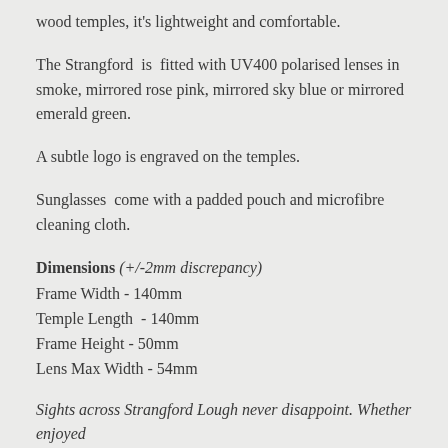wood temples, it's lightweight and comfortable.
The Strangford is fitted with UV400 polarised lenses in smoke, mirrored rose pink, mirrored sky blue or mirrored emerald green.
A subtle logo is engraved on the temples.
Sunglasses come with a padded pouch and microfibre cleaning cloth.
Dimensions (+/-2mm discrepancy)
Frame Width - 140mm
Temple Length - 140mm
Frame Height - 50mm
Lens Max Width - 54mm
Sights across Strangford Lough never disappoint. Whether enjoyed